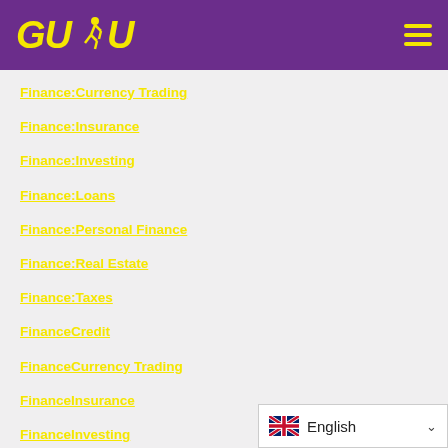[Figure (logo): GUDU logo with running figure silhouette in yellow on purple background, with hamburger menu icon]
Finance:Currency Trading
Finance:Insurance
Finance:Investing
Finance:Loans
Finance:Personal Finance
Finance:Real Estate
Finance:Taxes
FinanceCredit
FinanceCurrency Trading
FinanceInsurance
FinanceInvesting
FinanceLoans
[Figure (screenshot): English language selector dropdown with UK flag]